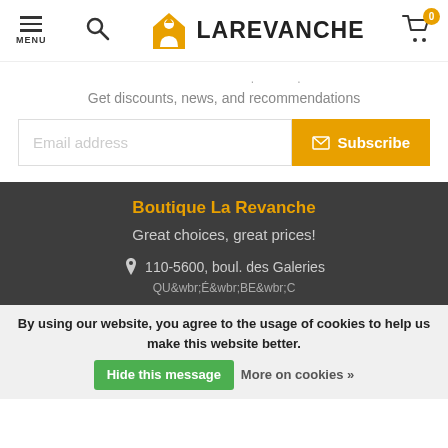MENU | La Revanche | Cart 0
Get discounts, news, and recommendations
Email address
Subscribe
Boutique La Revanche
Great choices, great prices!
110-5600, boul. des Galeries
By using our website, you agree to the usage of cookies to help us make this website better. Hide this message More on cookies »